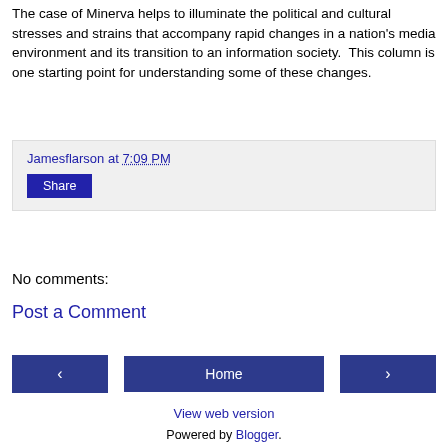The case of Minerva helps to illuminate the political and cultural stresses and strains that accompany rapid changes in a nation's media environment and its transition to an information society.  This column is one starting point for understanding some of these changes.
Jamesflarson at 7:09 PM
Share
No comments:
Post a Comment
‹
Home
›
View web version
Powered by Blogger.